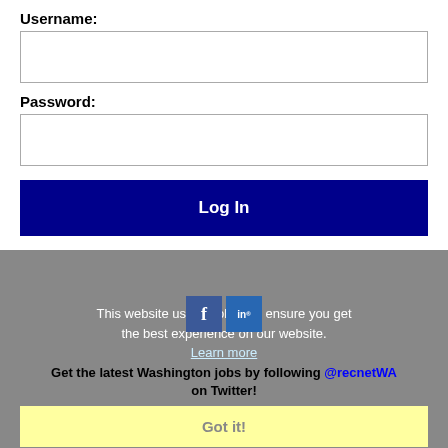Username:
Password:
Log In
Forgot password?
This website uses cookies to ensure you get the best experience on our website.
Learn more
Get the latest Washington jobs by following @recnetWA on Twitter!
Got it!
Vancouver RSS job feeds